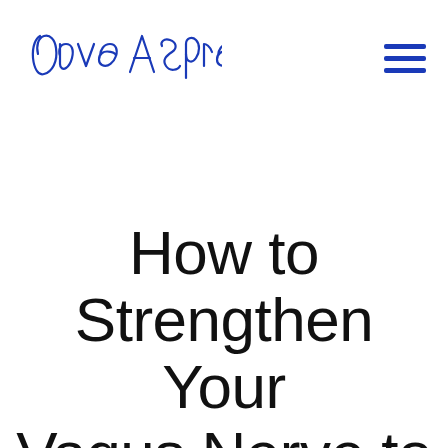[Figure (logo): Dave Asprey handwritten signature logo in blue ink]
How to Strengthen Your Vagus Nerve to Upgrade Your